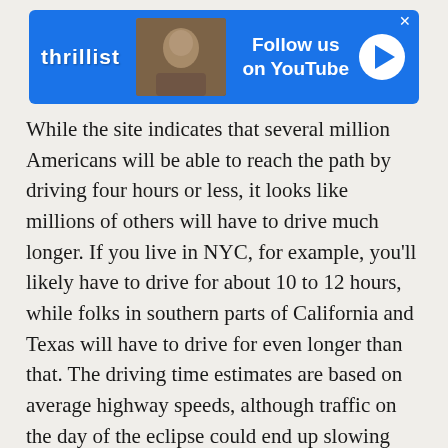[Figure (screenshot): Thrillist advertisement banner with 'Follow us on YouTube' text and play button on blue background]
While the site indicates that several million Americans will be able to reach the path by driving four hours or less, it looks like millions of others will have to drive much longer. If you live in NYC, for example, you'll likely have to drive for about 10 to 12 hours, while folks in southern parts of California and Texas will have to drive for even longer than that. The driving time estimates are based on average highway speeds, although traffic on the day of the eclipse could end up slowing things down a bit. The point, though, is to give you a good idea of how long it'll take you to get there so you can plan accordingly.
Speaking of planning accordingly,